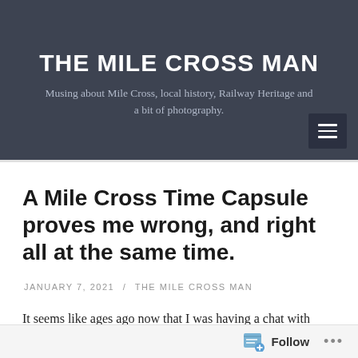THE MILE CROSS MAN
Musing about Mile Cross, local history, Railway Heritage and a bit of photography.
A Mile Cross Time Capsule proves me wrong, and right all at the same time.
JANUARY 7, 2021 / THE MILE CROSS MAN
It seems like ages ago now that I was having a chat with